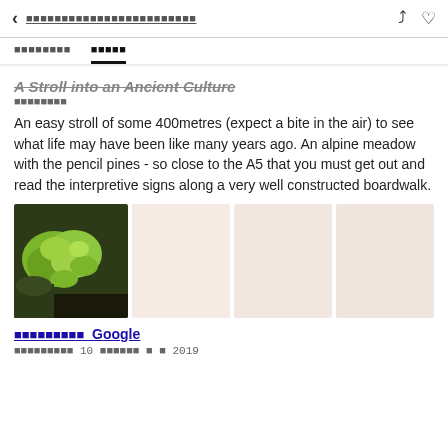< ■■■■■■■■■■■■■■■■■■■■■■■■ ⬆ ♡
■■■■■■■■  ■■■■■
A Stroll into an Ancient Culture
■■■■■■■■
An easy stroll of some 400metres (expect a bite in the air) to see what life may have been like many years ago. An alpine meadow with the pencil pines - so close to the A5 that you must get out and read the interpretive signs along a very well constructed boardwalk.
[Figure (photo): Photo of bright green moss on dark ground, plus three placeholder image tiles in light peach/beige color]
■■■■■■■■■ Google
■■■■■■■■■ 10 ■■■■■■ ■ ■ 2019